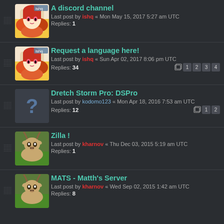A discord channel
Last post by ishq « Mon May 15, 2017 5:27 am UTC
Replies: 1
Request a language here!
Last post by ishq « Sun Apr 02, 2017 8:06 pm UTC
Replies: 34
Pages: 1 2 3 4
Dretch Storm Pro: DSPro
Last post by kodomo123 « Mon Apr 18, 2016 7:53 am UTC
Replies: 12
Pages: 1 2
Zilla !
Last post by kharnov « Thu Dec 03, 2015 5:19 am UTC
Replies: 1
MATS - Matth's Server
Last post by kharnov « Wed Sep 02, 2015 1:42 am UTC
Replies: 8